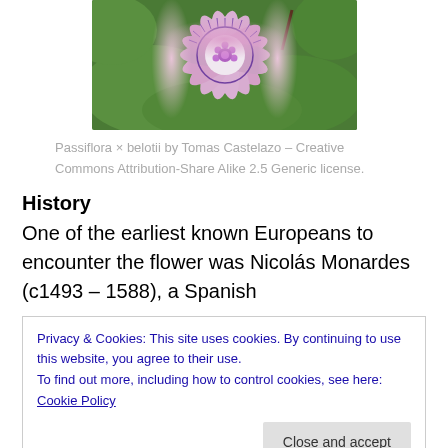[Figure (photo): A pink and purple Passiflora × belotii flower with green leaves in the background, photographed close-up.]
Passiflora × belotii by Tomas Castelazo – Creative Commons Attribution-Share Alike 2.5 Generic license.
History
One of the earliest known Europeans to encounter the flower was Nicolás Monardes (c1493 – 1588), a Spanish
Privacy & Cookies: This site uses cookies. By continuing to use this website, you agree to their use.
To find out more, including how to control cookies, see here: Cookie Policy
who noted that the plant had mild sedative properties and